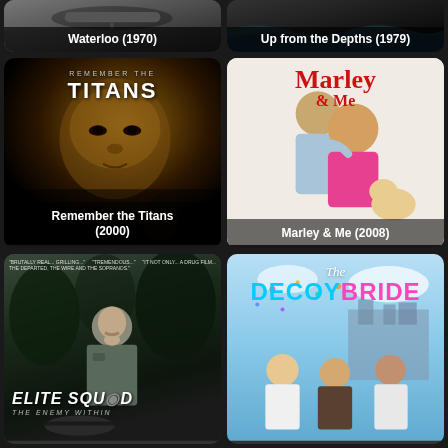[Figure (photo): Movie poster thumbnail for Waterloo (1970) with dark gradient background]
[Figure (photo): Movie poster thumbnail for Up from the Depths (1979) with dark background]
[Figure (photo): Movie poster for Remember the Titans (2000) showing a young boy's face in golden tones with film title text]
[Figure (photo): Movie poster for Marley & Me (2008) showing two people with a golden retriever puppy on white background]
[Figure (photo): Movie poster for Elite Squad: The Enemy Within showing a man in military uniform against dark background]
[Figure (photo): Movie poster for The Decoy Bride showing three people standing in front of a cityscape with colorful title text]